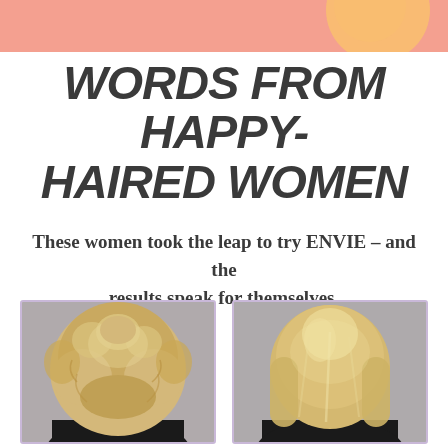[Figure (illustration): Top banner with salmon/peach background color and partial circular logo element visible at top right]
WORDS FROM HAPPY-HAIRED WOMEN
These women took the leap to try ENVIE – and the results speak for themselves.
[Figure (photo): Before photo: back view of a woman with frizzy, wavy, unkempt blonde hair, wearing a black top]
[Figure (photo): After photo: back view of a woman with smooth, straight, shiny blonde hair, wearing a black top]